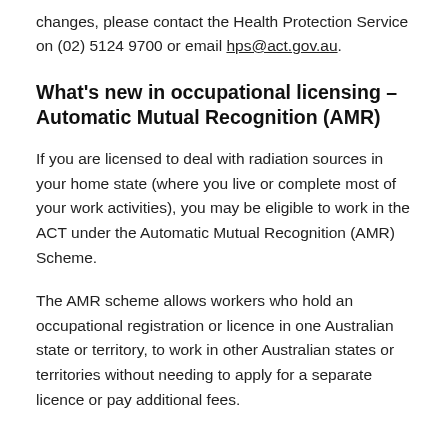changes, please contact the Health Protection Service on (02) 5124 9700 or email hps@act.gov.au.
What's new in occupational licensing – Automatic Mutual Recognition (AMR)
If you are licensed to deal with radiation sources in your home state (where you live or complete most of your work activities), you may be eligible to work in the ACT under the Automatic Mutual Recognition (AMR) Scheme.
The AMR scheme allows workers who hold an occupational registration or licence in one Australian state or territory, to work in other Australian states or territories without needing to apply for a separate licence or pay additional fees.